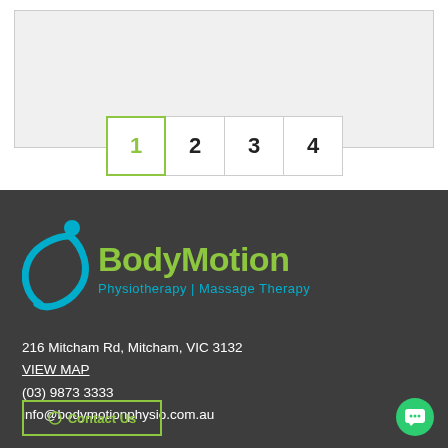[Figure (other): Gray placeholder image box at top of page]
Page navigation: 1 (active), 2, 3, 4
[Figure (logo): BodyMotion Physiotherapy | Massage Therapy logo with teal figure icon and green text]
216 Mitcham Rd, Mitcham, VIC 3132
VIEW MAP
(03) 9873 3333
info@bodymotionphysio.com.au